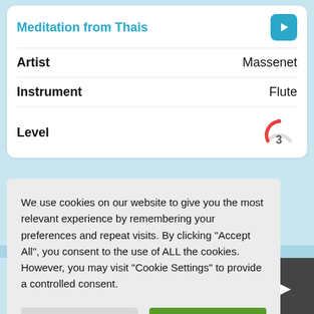Meditation from Thais
Artist
Massenet
Instrument
Flute
Level
3
We use cookies on our website to give you the most relevant experience by remembering your preferences and repeat visits. By clicking “Accept All”, you consent to the use of ALL the cookies. However, you may visit “Cookie Settings” to provide a controlled consent.
Cookie Settings
Accept All
erms of Service
rivacy Policy
IA
Privacy Policy and